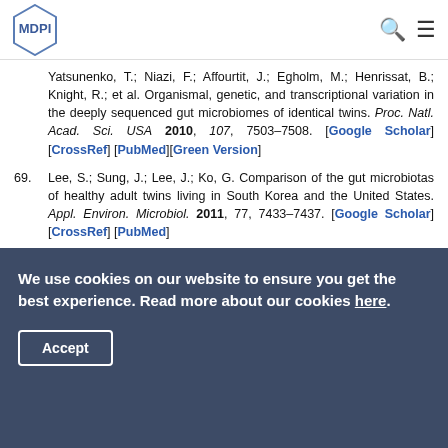MDPI logo with search and menu icons
Yatsunenko, T.; Niazi, F.; Affourtit, J.; Egholm, M.; Henrissat, B.; Knight, R.; et al. Organismal, genetic, and transcriptional variation in the deeply sequenced gut microbiomes of identical twins. Proc. Natl. Acad. Sci. USA 2010, 107, 7503–7508. [Google Scholar] [CrossRef] [PubMed][Green Version]
69. Lee, S.; Sung, J.; Lee, J.; Ko, G. Comparison of the gut microbiotas of healthy adult twins living in South Korea and the United States. Appl. Environ. Microbiol. 2011, 77, 7433–7437. [Google Scholar] [CrossRef] [PubMed]
70. Luoto, R.; Kalliomäki, M.; Laitinen, K.; Delzenne, N.M.;
We use cookies on our website to ensure you get the best experience. Read more about our cookies here. Accept